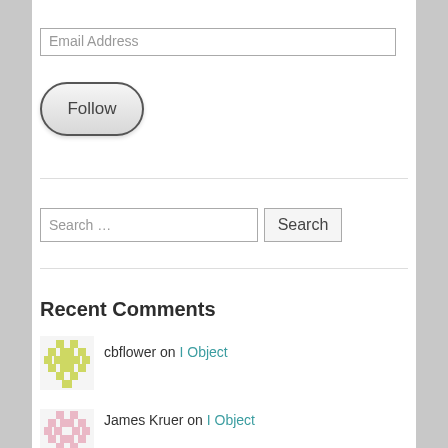Email Address
Follow
Search …
Search
Recent Comments
cbflower on I Object
James Kruer on I Object